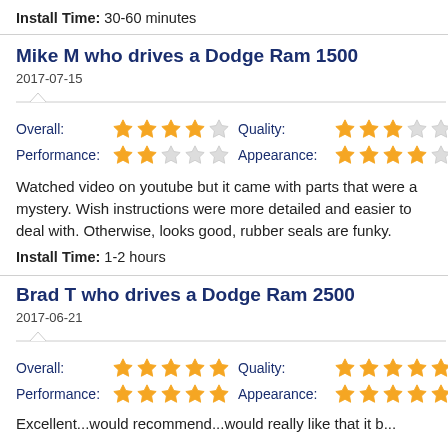Install Time: 30-60 minutes
Mike M who drives a Dodge Ram 1500
2017-07-15
| Category | Rating |
| --- | --- |
| Overall: | 4/5 |
| Performance: | 2/5 |
| Quality: | 3/5 |
| Appearance: | 4/5 |
Watched video on youtube but it came with parts that were a mystery. Wish instructions were more detailed and easier to deal with. Otherwise, looks good, rubber seals are funky.
Install Time: 1-2 hours
Brad T who drives a Dodge Ram 2500
2017-06-21
| Category | Rating |
| --- | --- |
| Overall: | 5/5 |
| Performance: | 5/5 |
| Quality: | 5/5 |
| Appearance: | 5/5 |
Excellent...would recommend...would really like that it b...